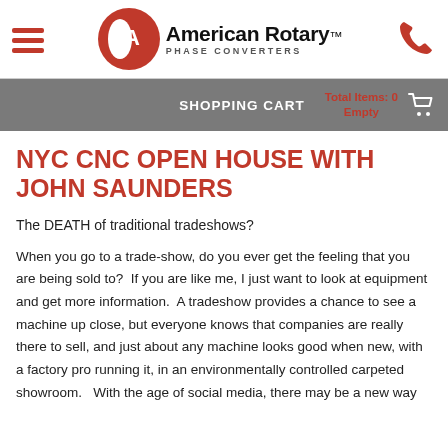[Figure (logo): American Rotary Phase Converters logo with hamburger menu icon on left and phone icon on right]
SHOPPING CART  Total Items: 0  Empty
NYC CNC OPEN HOUSE WITH JOHN SAUNDERS
The DEATH of traditional tradeshows?
When you go to a trade-show, do you ever get the feeling that you are being sold to?  If you are like me, I just want to look at equipment and get more information.  A tradeshow provides a chance to see a machine up close, but everyone knows that companies are really there to sell, and just about any machine looks good when new, with a factory pro running it, in an environmentally controlled carpeted showroom.   With the age of social media, there may be a new way